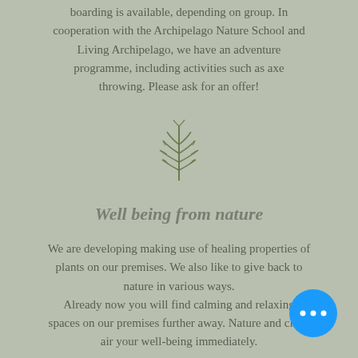boarding is available, depending on group. In cooperation with the Archipelago Nature School and Living Archipelago, we have an adventure programme, including activities such as axe throwing. Please ask for an offer!
[Figure (illustration): Small green fern/pine branch illustration used as a decorative divider]
Well being from nature
We are developing making use of healing properties of plants on our premises. We also like to give back to nature in various ways. Already now you will find calming and relaxing spaces on our premises further away. Nature and clean air your well-being immediately.